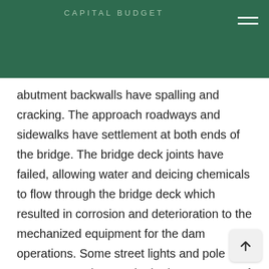CAPITAL BUDGET
abutment backwalls have spalling and cracking. The approach roadways and sidewalks have settlement at both ends of the bridge. The bridge deck joints have failed, allowing water and deicing chemicals to flow through the bridge deck which resulted in corrosion and deterioration to the mechanized equipment for the dam operations. Some street lights and pole supports are damaged. The improvement of storm inlets was requested by WSSC to minimize storm runoff entering into the bridge deck surface from the approach roadways.